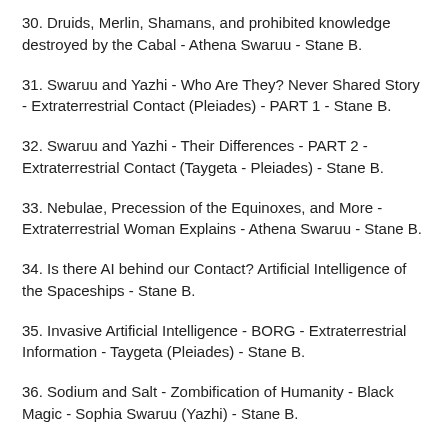30. Druids, Merlin, Shamans, and prohibited knowledge destroyed by the Cabal - Athena Swaruu - Stane B.
31. Swaruu and Yazhi - Who Are They? Never Shared Story - Extraterrestrial Contact (Pleiades) - PART 1 - Stane B.
32. Swaruu and Yazhi - Their Differences - PART 2 - Extraterrestrial Contact (Taygeta - Pleiades) - Stane B.
33. Nebulae, Precession of the Equinoxes, and More - Extraterrestrial Woman Explains - Athena Swaruu - Stane B.
34. Is there AI behind our Contact? Artificial Intelligence of the Spaceships - Stane B.
35. Invasive Artificial Intelligence - BORG - Extraterrestrial Information - Taygeta (Pleiades) - Stane B.
36. Sodium and Salt - Zombification of Humanity - Black Magic - Sophia Swaruu (Yazhi) - Stane B.
37. Exopolitics and Ufology Circles and CIA - Infiltrations - Yazhi and Athena Swaruu - Stane B.
38. Exopolitics with Alenym of Temmer - Liberation of the Earth does NOT … - Stane B.